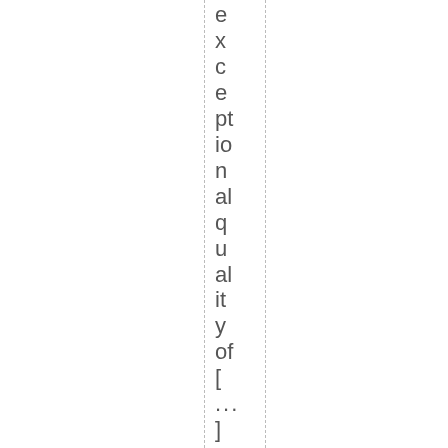exceptional quality of [...] The postA